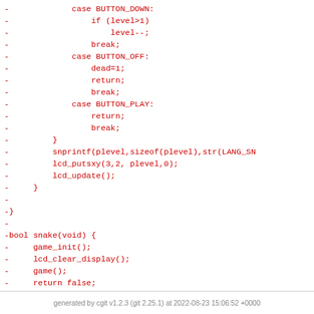-             case BUTTON_DOWN:
-                 if (level>1)
-                     level--;
-                 break;
-             case BUTTON_OFF:
-                 dead=1;
-                 return;
-                 break;
-             case BUTTON_PLAY:
-                 return;
-                 break;
-         }
-         snprintf(plevel,sizeof(plevel),str(LANG_SN
-         lcd_putsxy(3,2, plevel,0);
-         lcd_update();
-     }
-
-}
-
-bool snake(void) {
-     game_init();
-     lcd_clear_display();
-     game();
-     return false;
-}
-
generated by cgit v1.2.3 (git 2.25.1) at 2022-08-23 15:06:52 +0000